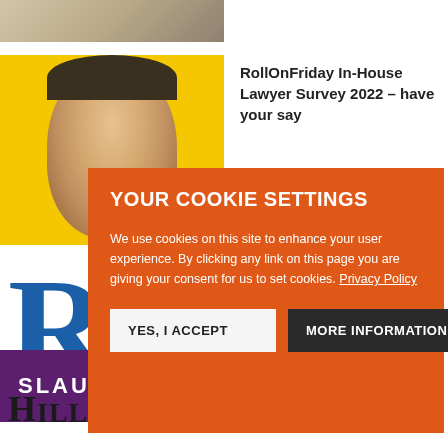[Figure (photo): Top portion of a photo strip showing fabric or clothing detail]
[Figure (photo): Yellow background photo of a man's face with pencils near his eyes]
RollOnFriday In-House Lawyer Survey 2022 – have your say
YOUR COOKIE SETTINGS
We use cookies on this site to enhance your user experience. By clicking any link on this page you are giving your consent for us to set cookies. Privacy Policy
YES, I ACCEPT
MORE INFORMATION
[Figure (logo): Slaughter and May logo - white text on purple background]
[Figure (logo): Hill Dickinson logo - large black serif text]